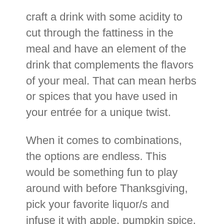craft a drink with some acidity to cut through the fattiness in the meal and have an element of the drink that complements the flavors of your meal. That can mean herbs or spices that you have used in your entrée for a unique twist.
When it comes to combinations, the options are endless. This would be something fun to play around with before Thanksgiving, pick your favorite liquor/s and infuse it with apple, pumpkin spice, cranberry, orange, pecan or pomegranate. The flavor infusion can be juice, a mash or you can make a simple syrup with your desired flavor. Pick the appropriate glass and make a small edible garnish and you've become a mixologist. Don't forget to include